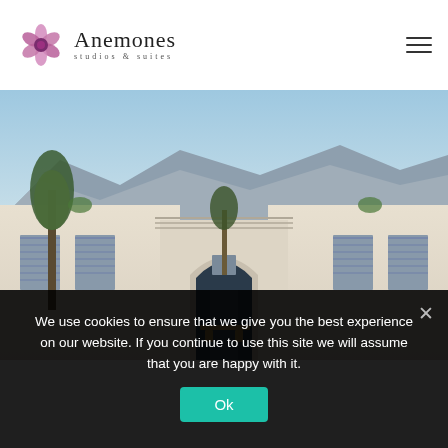Anemones studios & suites
[Figure (photo): Exterior photo of Anemones studios and suites property showing white Mediterranean-style building with arched entrance, shuttered windows, outdoor seating area, trees, and mountainous landscape in background under blue sky.]
We use cookies to ensure that we give you the best experience on our website. If you continue to use this site we will assume that you are happy with it.